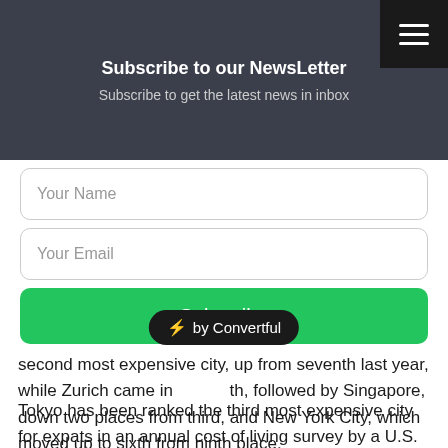Subscribe to our NewsLetter
Subscribe to get the latest news in inbox
Your Name
Your Email
Subscribe
second most expensive city, up from seventh last year, while Zurich came in [fourth], followed by Singapore, down two places from third, and New York City, which moved up to sixth from ninth place.
Tokyo has been ranked the third most expensive city for expats in an annual cost of living survey by a U.S. consulting firm, down from second place last year, while Hong Kong kept its top position for the third consecutive